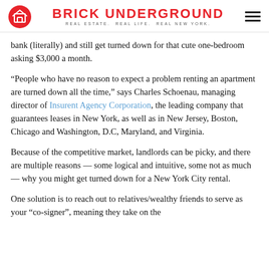BRICK UNDERGROUND — REAL ESTATE. REAL LIFE. REAL NEW YORK.
bank (literally) and still get turned down for that cute one-bedroom asking $3,000 a month.
“People who have no reason to expect a problem renting an apartment are turned down all the time,” says Charles Schoenau, managing director of Insurent Agency Corporation, the leading company that guarantees leases in New York, as well as in New Jersey, Boston, Chicago and Washington, D.C, Maryland, and Virginia.
Because of the competitive market, landlords can be picky, and there are multiple reasons — some logical and intuitive, some not as much — why you might get turned down for a New York City rental.
One solution is to reach out to relatives/wealthy friends to serve as your “co-signer”, meaning they take on the